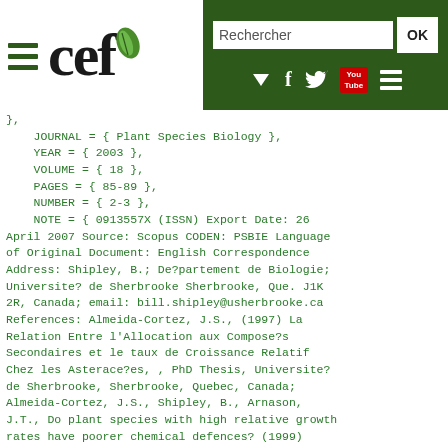[Figure (logo): CEF website header with logo (leaf and 'cef' text), hamburger menu icon on left, green right panel with search box labeled 'Rechercher', OK button, and social media icons (arrow/dropdown, Facebook f, Twitter bird, YouTube badge, hamburger menu)]
},
    JOURNAL = { Plant Species Biology },
    YEAR = { 2003 },
    VOLUME = { 18 },
    PAGES = { 85-89 },
    NUMBER = { 2-3 },
    NOTE = { 0913557X (ISSN) Export Date: 26 April 2007 Source: Scopus CODEN: PSBIE Language of Original Document: English Correspondence Address: Shipley, B.; De?partement de Biologie; Universite? de Sherbrooke Sherbrooke, Que. J1K 2R, Canada; email: bill.shipley@usherbrooke.ca References: Almeida-Cortez, J.S., (1997) La Relation Entre l'Allocation aux Compose?s Secondaires et le taux de Croissance Relatif Chez les Asterace?es, , PhD Thesis, Universite? de Sherbrooke, Sherbrooke, Quebec, Canada; Almeida-Cortez, J.S., Shipley, B., Arnason, J.T., Do plant species with high relative growth rates have poorer chemical defences? (1999) Functional Ecology, 13, pp. 819-827; Almeida-Cortez, J.S., Shipley, B., Arnason, J.T., Growth and chemical defense in relation to resource availability: Tradeoffs or common responses to environmental stress? (2002) Brazilian Journal